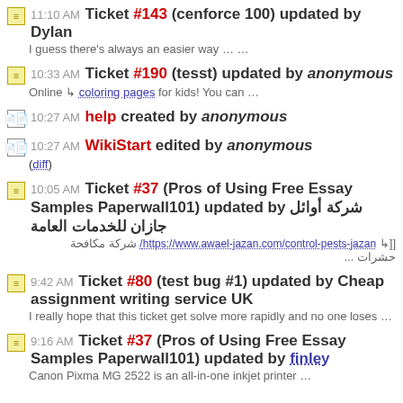11:10 AM Ticket #143 (cenforce 100) updated by Dylan
I guess there’s always an easier way … …
10:33 AM Ticket #190 (tesst) updated by anonymous
Online coloring pages for kids! You can …
10:27 AM help created by anonymous
10:27 AM WikiStart edited by anonymous
(diff)
10:05 AM Ticket #37 (Pros of Using Free Essay Samples Paperwall101) updated by شركة أوائل جازان للخدمات العامة
[[ https://www.awael-jazan.com/control-pests-jazan/ شركة مكافحة حشرات ...
9:42 AM Ticket #80 (test bug #1) updated by Cheap assignment writing service UK
I really hope that this ticket get solve more rapidly and no one loses …
9:16 AM Ticket #37 (Pros of Using Free Essay Samples Paperwall101) updated by finley
Canon Pixma MG 2522 is an all-in-one inkjet printer …